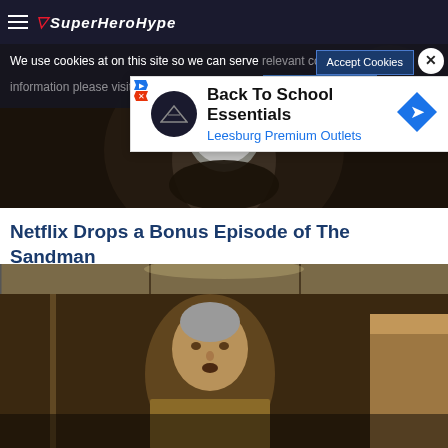SuperHeroHype
We use cookies at on this site so we can serve relevant content. For more information please visit our Privacy and Cookie Policy
[Figure (screenshot): Advertisement banner for Back To School Essentials – Leesburg Premium Outlets with diamond-shaped navigation arrow icon]
[Figure (photo): Dark cinematic still from The Sandman showing a masked/white-faced figure in shadow]
Netflix Drops a Bonus Episode of The Sandman
[Figure (photo): Cinematic still from The Sandman showing an older man with grey hair looking upward in an elevator scene, warm amber tones]